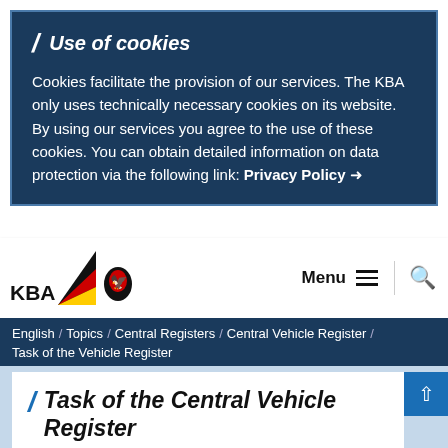Use of cookies
Cookies facilitate the provision of our services. The KBA only uses technically necessary cookies on its website. By using our services you agree to the use of these cookies. You can obtain detailed information on data protection via the following link: Privacy Policy →
[Figure (logo): KBA logo with German flag triangle and federal eagle emblem]
Menu
English / Topics / Central Registers / Central Vehicle Register / Task of the Vehicle Register
Task of the Central Vehicle Register